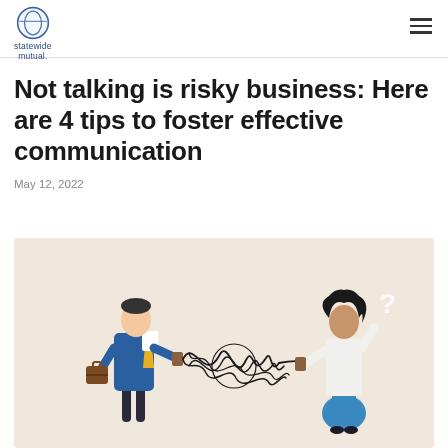statewide mutual.
Not talking is risky business: Here are 4 tips to foster effective communication
May 12, 2022
[Figure (illustration): Illustration of two people trying to communicate through tin-can telephone with a tangled, knotted string in the middle. Left figure is a man in a blue suit holding a briefcase with a yellow tie. Right figure is a woman in a white top and blue skirt with a question mark above her head. Background is beige/tan.]